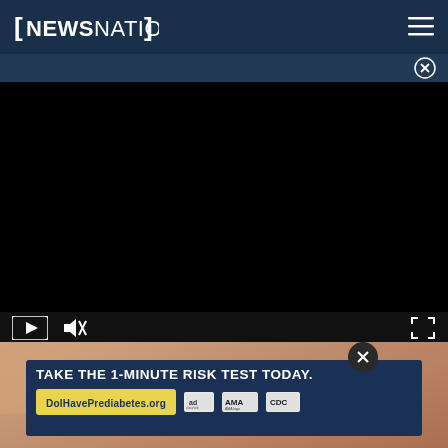[NEWSNATION]
[Figure (screenshot): NewsNation website navigation bar with logo on left and hamburger menu on right, dark navy background]
[Figure (screenshot): Black video player area with play and mute controls at bottom left and fullscreen control at bottom right]
[Figure (photo): Partial view of hands on wooden surface with advertisement overlay reading TAKE THE 1-MINUTE RISK TEST TODAY. DolHavePrediabetes.org with AMA and CDC logos]
TAKE THE 1-MINUTE RISK TEST TODAY. DolHavePrediabetes.org